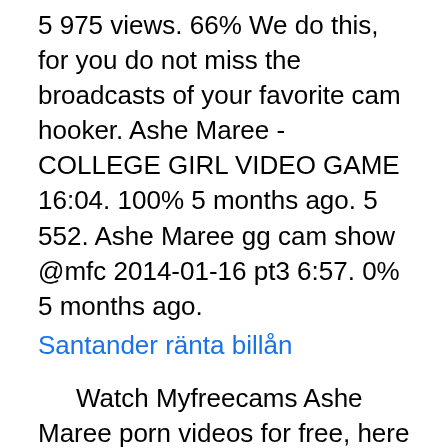5 975 views. 66% We do this, for you do not miss the broadcasts of your favorite cam hooker. Ashe Maree - COLLEGE GIRL VIDEO GAME 16:04. 100% 5 months ago. 5 552. Ashe Maree gg cam show @mfc 2014-01-16 pt3 6:57. 0% 5 months ago.
Santander ränta billån
Watch Myfreecams Ashe Maree porn videos for free, here on Pornhub.com. Discover the growing collection of high quality Most Relevant XXX movies and clips. No other sex tube is more popular and features more Myfreecams Ashe Maree scenes than Pornhub!
108.9k 100% 7min - 480p. CamWhores.TV - Best Cam Tube For Free XXX Live Sex Cams Movies.